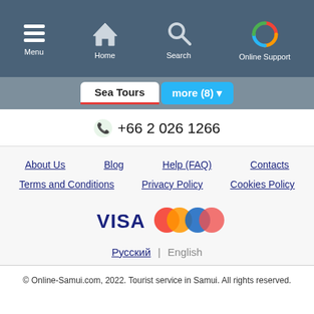Menu | Home | Search | Online Support
Sea Tours  more (8)
+66 2 026 1266
About Us
Blog
Help (FAQ)
Contacts
Terms and Conditions
Privacy Policy
Cookies Policy
[Figure (logo): VISA, Mastercard, and Maestro payment logos]
Русский | English
© Online-Samui.com, 2022. Tourist service in Samui. All rights reserved.